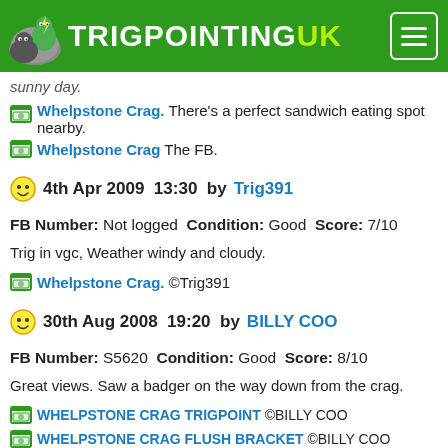TRIGPOINTINGUK
sunny day.
Whelpstone Crag. There's a perfect sandwich eating spot nearby.
Whelpstone Crag The FB.
4th Apr 2009  13:30  by Trig391
FB Number: Not logged  Condition: Good  Score: 7/10
Trig in vgc, Weather windy and cloudy.
Whelpstone Crag. ©Trig391
30th Aug 2008  19:20  by BILLY COO
FB Number: S5620  Condition: Good  Score: 8/10
Great views. Saw a badger on the way down from the crag.
WHELPSTONE CRAG TRIGPOINT ©BILLY COO
WHELPSTONE CRAG FLUSH BRACKET ©BILLY COO